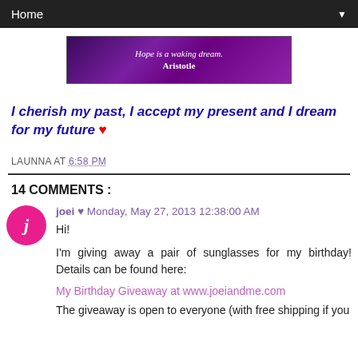Home ▼
[Figure (illustration): Purple banner with white text: 'Hope is a waking dream. Aristotle']
I cherish my past, I accept my present and I dream for my future ♥
LAUNNA AT 6:58 PM
14 COMMENTS :
joei ♥ Monday, May 27, 2013 12:38:00 AM
Hi!

I'm giving away a pair of sunglasses for my birthday! Details can be found here:

My Birthday Giveaway at www.joeiandme.com

The giveaway is open to everyone (with free shipping if you